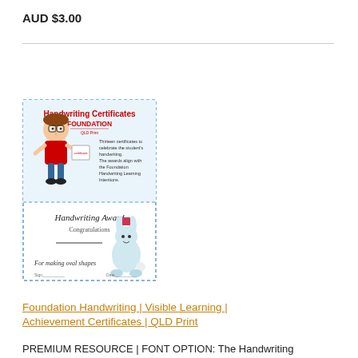AUD $3.00
[Figure (illustration): Thumbnail image of a handwriting certificates product for Foundation level QLD. Top half shows a cartoon boy holding a certificate with red title 'Handwriting Certificates FOUNDATION' and descriptive text. Bottom half shows a sample certificate titled 'Handwriting Award Congratulations' with a line illustration of a rabbit character and text 'For making oval shapes'.]
Foundation Handwriting | Visible Learning | Achievement Certificates | QLD Print
PREMIUM RESOURCE | FONT OPTION: The Handwriting